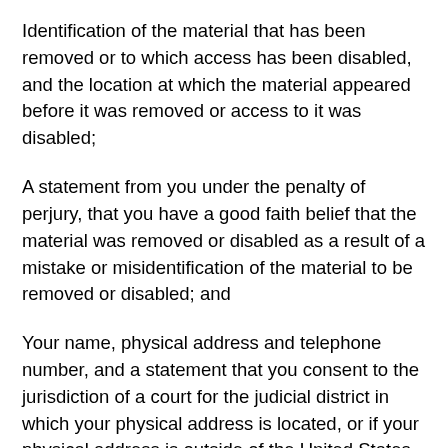Identification of the material that has been removed or to which access has been disabled, and the location at which the material appeared before it was removed or access to it was disabled;
A statement from you under the penalty of perjury, that you have a good faith belief that the material was removed or disabled as a result of a mistake or misidentification of the material to be removed or disabled; and
Your name, physical address and telephone number, and a statement that you consent to the jurisdiction of a court for the judicial district in which your physical address is located, or if your physical address is outside of the United States, for any judicial district in which we may be located, and that you will accept service of process from the person who provided notification of allegedly infringing material or an agent of such person.